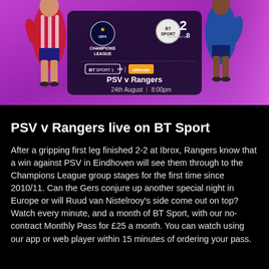[Figure (screenshot): BT Sport Champions League promotional banner showing PSV v Rangers match details: BT Sport 1HD | ultimate, PSV v Rangers, 24th August | 8:00pm, with UEFA Champions League and BT Sport 2 logos, and football players on a purple background]
PSV v Rangers live on BT Sport
After a gripping first leg finished 2-2 at Ibrox, Rangers know that a win against PSV in Eindhoven will see them through to the Champions League group stages for the first time since 2010/11. Can the Gers conjure up another special night in Europe or will Ruud van Nistelrooy's side come out on top? Watch every minute, and a month of BT Sport, with our no-contract Monthly Pass for £25 a month. You can watch using our app or web player within 15 minutes of ordering your pass.